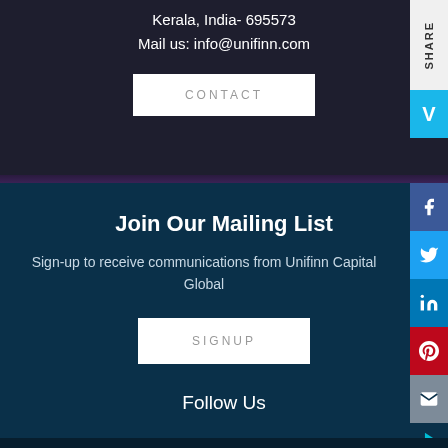Kerala, India- 695573
Mail us: info@unifinn.com
CONTACT
Join Our Mailing List
Sign-up to receive communications from Unifinn Capital Global
SIGNUP
Follow Us